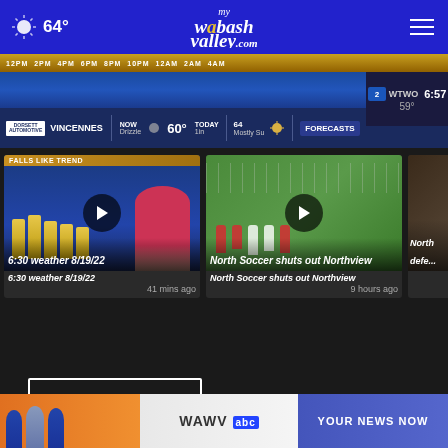64° mywabashvalley.com
[Figure (screenshot): Weather strip showing time labels 12PM 2PM 4PM 6PM 8PM 10PM 12AM 2AM 4AM, NBC2 WTWO logo with time 6:57 and 59°, Vincennes NOW Drizzle 60° TODAY 64° Mostly Su FORECASTS]
[Figure (screenshot): Video thumbnail: 6:30 weather 8/19/22 - weather forecast with bar chart showing temperature trend, female meteorologist in red dress]
6:30 weather 8/19/22
41 mins ago
[Figure (screenshot): Video thumbnail: North Soccer shuts out Northview - soccer players on field]
North Soccer shuts out Northview
9 hours ago
[Figure (screenshot): Partially visible video thumbnail: North ... defeat...]
More Videos ›
[Figure (screenshot): WAWV ABC advertisement banner with YOUR NEWS NOW text and news anchors]